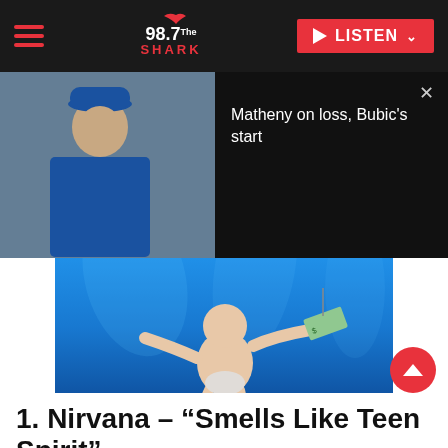98.7 The Shark — LISTEN
[Figure (screenshot): Video thumbnail showing a man in a blue baseball cap and blue jersey being interviewed, with black background. Text reads: Matheny on loss, Bubic's start]
[Figure (photo): Nirvana Nevermind album cover showing a baby swimming underwater reaching for a dollar bill on a fishhook. Credit: Universal Music]
1. Nirvana – “Smells Like Teen Spirit”